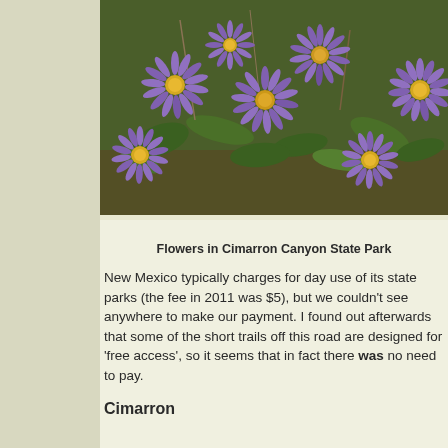[Figure (photo): Close-up photograph of purple/violet daisy-like flowers with yellow centers (asters) growing densely with green foliage and some dried stems visible in the background.]
Flowers in Cimarron Canyon State Park
New Mexico typically charges for day use of its state parks (the fee in 2011 was $5), but we couldn't see anywhere to make our payment. I found out afterwards that some of the short trails off this road are designed for 'free access', so it seems that in fact there was no need to pay.
Cimarron